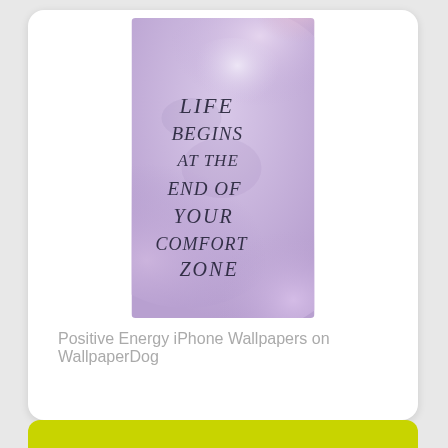[Figure (illustration): A motivational quote wallpaper with purple and lavender watercolor cloud background. Text reads: LIFE BEGINS AT THE END OF YOUR COMFORT ZONE in dark handwritten lettering.]
Positive Energy iPhone Wallpapers on WallpaperDog